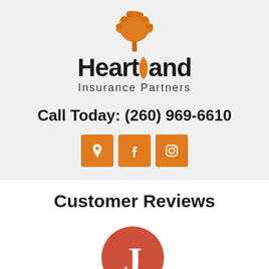[Figure (logo): Heartland Insurance Partners logo with orange tree graphic and black bold text]
Call Today: (260) 969-6610
[Figure (infographic): Three orange square social media icon buttons: location/map pin, Facebook, Instagram]
Customer Reviews
[Figure (illustration): Red/coral circle avatar with letter J and a smaller Google G badge in bottom right]